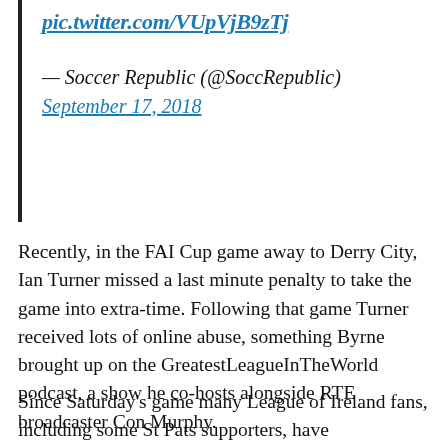pic.twitter.com/VUpVjB9zTj
— Soccer Republic (@SoccRepublic) September 17, 2018
Recently, in the FAI Cup game away to Derry City, Ian Turner missed a last minute penalty to take the game into extra-time. Following that game Turner received lots of online abuse, something Byrne brought up on the GreatestLeagueInTheWorld podcast, a show he co-hosts alongside RTE broadcaster Con Murphy.
Since Saturday's game many League of Ireland fans, including some St Pats supporters, have